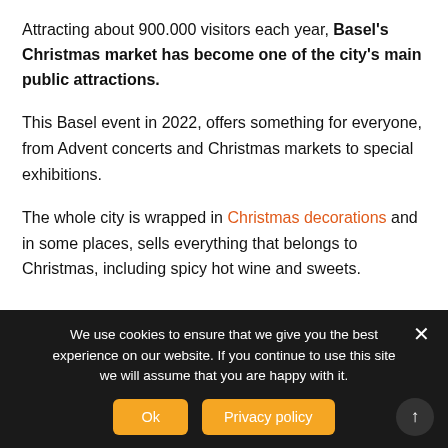Attracting about 900.000 visitors each year, Basel's Christmas market has become one of the city's main public attractions.
This Basel event in 2022, offers something for everyone, from Advent concerts and Christmas markets to special exhibitions.
The whole city is wrapped in Christmas decorations and in some places, sells everything that belongs to Christmas, including spicy hot wine and sweets.
We use cookies to ensure that we give you the best experience on our website. If you continue to use this site we will assume that you are happy with it.